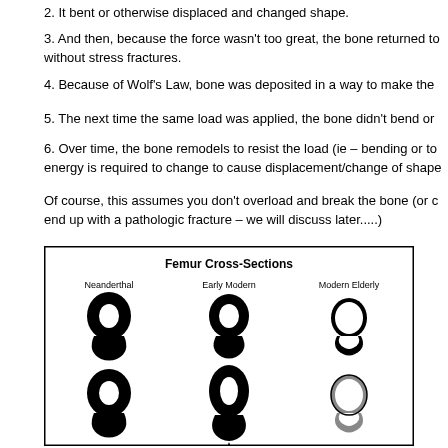2. It bent or otherwise displaced and changed shape.
3. And then, because the force wasn't too great, the bone returned to without stress fractures.
4. Because of Wolf's Law, bone was deposited in a way to make the
5. The next time the same load was applied, the bone didn't bend or
6. Over time, the bone remodels to resist the load (ie – bending or to energy is required to change to cause displacement/change of shape
Of course, this assumes you don't overload and break the bone (or c end up with a pathologic fracture – we will discuss later.....)
[Figure (illustration): Femur Cross-Sections diagram showing three types: Neanderthal (thick cortical bone, teardrop shaped), Early Modern (similar teardrop, moderately thick cortex), and Modern Elderly (thin cortex, more oval). Two rows of cross-sections shown with label 'A' with arrow pointing up in bottom row.]